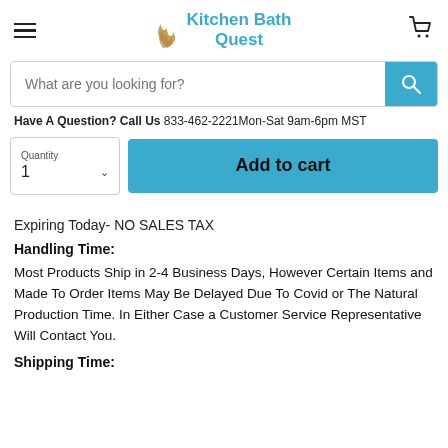Kitchen Bath Quest
What are you looking for?
Have A Question? Call Us  833-462-2221Mon-Sat 9am-6pm MST
Quantity
1
Add to cart
Expiring Today- NO SALES TAX
Handling Time:
Most Products Ship in 2-4 Business Days, However Certain Items and Made To Order Items May Be Delayed Due To Covid or The Natural Production Time. In Either Case a Customer Service Representative Will Contact You.
Shipping Time: